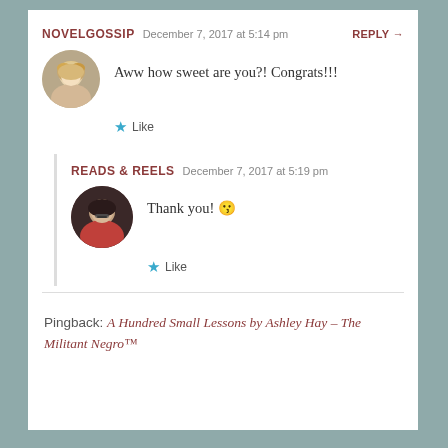NOVELGOSSIP   December 7, 2017 at 5:14 pm   REPLY →
Aww how sweet are you?! Congrats!!!
★ Like
READS & REELS   December 7, 2017 at 5:19 pm
Thank you! 😗
★ Like
Pingback: A Hundred Small Lessons by Ashley Hay – The Militant Negro™